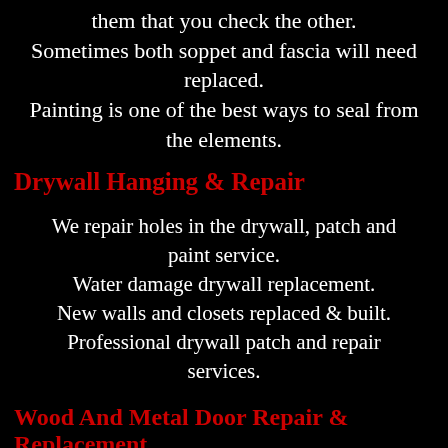them that you check the other. Sometimes both soppet and fascia will need replaced. Painting is one of the best ways to seal from the elements.
Drywall Hanging & Repair
We repair holes in the drywall, patch and paint service. Water damage drywall replacement. New walls and closets replaced & built. Professional drywall patch and repair services.
Wood And Metal Door Repair & Replacement